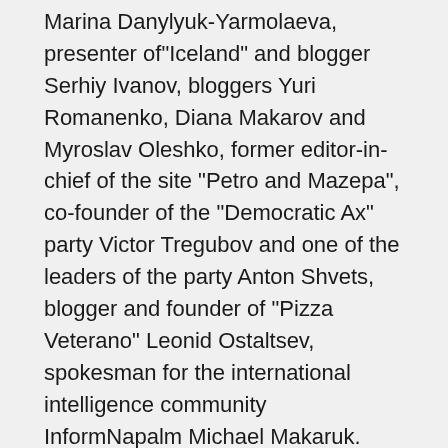Marina Danylyuk-Yarmolaeva, presenter of"Iceland" and blogger Serhiy Ivanov, bloggers Yuri Romanenko, Diana Makarov and Myroslav Oleshko, former editor-in-chief of the site "Petro and Mazepa", co-founder of the “Democratic Ax” party Victor Tregubov and one of the leaders of the party Anton Shvets, blogger and founder of “Pizza Veterano” Leonid Ostaltsev, spokesman for the international intelligence community InformNapalm Michael Makaruk.
After the meeting, Denis Kazansky wrote on Facebook , "no more certitude he could get as to involvement of suspected persons in the murder of Sheremet." The same opinion was voiced by Diana Makarova: “The Ministry of Internal Affairs is convinced of guilt of the arrested Kuzmenko, Antonenko and Dugar. But personally me, I have not been convinced by